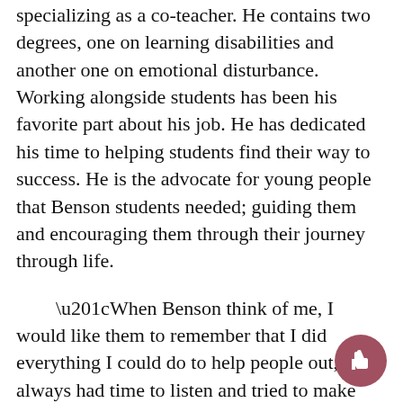specializing as a co-teacher. He contains two degrees, one on learning disabilities and another one on emotional disturbance. Working alongside students has been his favorite part about his job. He has dedicated his time to helping students find their way to success. He is the advocate for young people that Benson students needed; guiding them and encouraging them through their journey through life.
“When Benson think of me, I would like them to remember that I did everything I could do to help people out, always had time to listen and tried to make things fun,” Co-teacher at Benson Ray Dewaele said.
Starting out as a business teacher, Ken Rieschl has been the transition room teacher at Benson High School for six years. He honors his workings